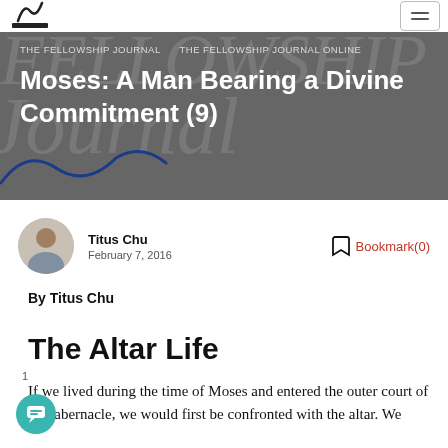THE FELLOWSHIP JOURNAL  THE FELLOWSHIP JOURNAL ONLINE
Moses: A Man Bearing a Divine Commitment (9)
Titus Chu
February 7, 2016
Bookmark(0)
By Titus Chu
The Altar Life
If we lived during the time of Moses and entered the outer court of the tabernacle, we would first be confronted with the altar. We